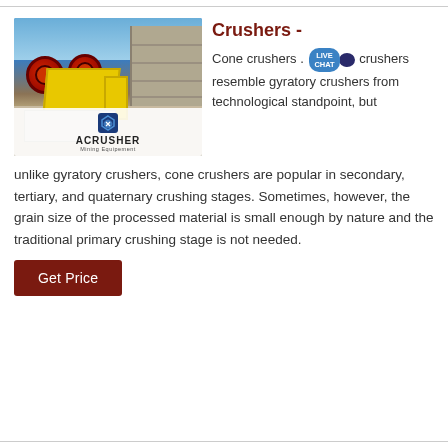[Figure (photo): Yellow jaw crusher machine with red wheels on a construction site, with rock wall background. ACRUSHER Mining Equipment logo overlay at bottom of image.]
Crushers -
Cone crushers . LIVE CHAT crushers resemble gyratory crushers from technological standpoint, but unlike gyratory crushers, cone crushers are popular in secondary, tertiary, and quaternary crushing stages. Sometimes, however, the grain size of the processed material is small enough by nature and the traditional primary crushing stage is not needed.
Get Price